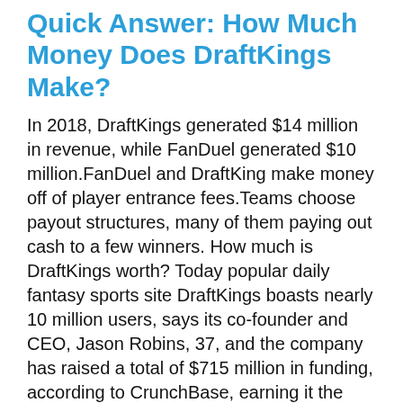Quick Answer: How Much Money Does DraftKings Make?
In 2018, DraftKings generated $14 million in revenue, while FanDuel generated $10 million.FanDuel and DraftKing make money off of player entrance fees.Teams choose payout structures, many of them paying out cash to a few winners. How much is DraftKings worth? Today popular daily fantasy sports site DraftKings boasts nearly 10 million users, says its co-founder and CEO, Jason Robins, 37, and the company has raised a total of $715 million in funding, according to CrunchBase, earning it the reputation of a so-called “unicorn” start-up thanks to a valuation north of $1 billion How do you get paid on DraftKings? Enter in the amount you wish to withdraw, which will need to be at least $20. The first part of your